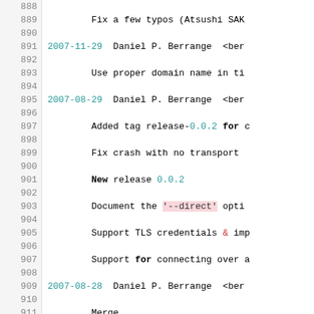Source code / changelog view with line numbers 888-917
888 (empty)
889     Fix a few typos (Atsushi SAK...
890 (empty)
891 2007-11-29  Daniel P. Berrange  <ber...
892 (empty)
893         Use proper domain name in ti...
894 (empty)
895 2007-08-29  Daniel P. Berrange  <ber...
896 (empty)
897         Added tag release-0.0.2 for c...
898 (empty)
899         Fix crash with no transport ...
900 (empty)
901         New release 0.0.2
902 (empty)
903         Document the '--direct' opti...
904 (empty)
905         Support TLS credentials & im...
906 (empty)
907         Support for connecting over ...
908 (empty)
909 2007-08-28  Daniel P. Berrange  <ber...
910 (empty)
911         Merge
912 (empty)
913         Added initial ability to conn...
914 (empty)
915         Disable debug flag
916 (empty)
917         Fixed delete-event handler ...